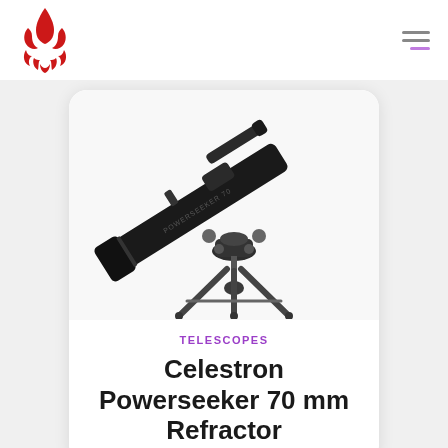[Figure (logo): Red ornate flame/phoenix logo mark]
[Figure (photo): Celestron Powerseeker 70mm refractor telescope on equatorial mount, black, shown against white background]
TELESCOPES
Celestron Powerseeker 70 mm Refractor